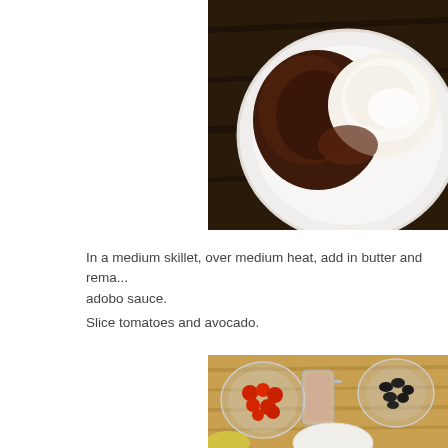[Figure (photo): A white bowl containing dark adobo sauce and white cream/sour cream ingredients on a dark wooden surface, viewed from above.]
In a medium skillet, over medium heat, add in butter and rema... adobo sauce.
Slice tomatoes and avocado.
[Figure (photo): A wooden cutting board with glass bowls containing sliced cherry tomatoes, black beans, and a glass pitcher with a creamy sauce; also visible is a white bowl and what appears to be a lemon or avocado slice.]